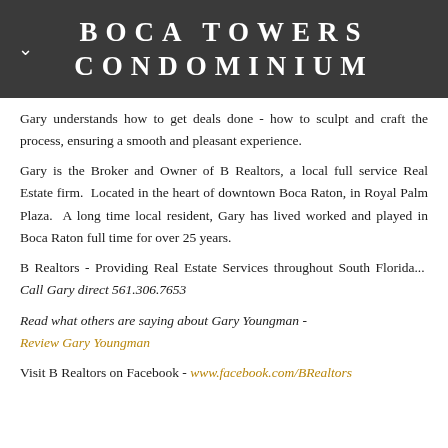BOCA TOWERS CONDOMINIUM
Gary understands how to get deals done - how to sculpt and craft the process, ensuring a smooth and pleasant experience.
Gary is the Broker and Owner of B Realtors, a local full service Real Estate firm. Located in the heart of downtown Boca Raton, in Royal Palm Plaza. A long time local resident, Gary has lived worked and played in Boca Raton full time for over 25 years.
B Realtors - Providing Real Estate Services throughout South Florida... Call Gary direct 561.306.7653
Read what others are saying about Gary Youngman – Review Gary Youngman
Visit B Realtors on Facebook – www.facebook.com/BRealtors